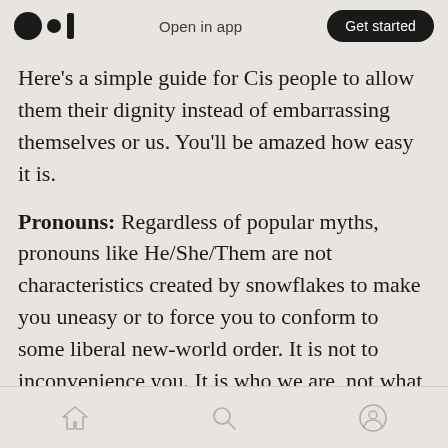Open in app | Get started
Here's a simple guide for Cis people to allow them their dignity instead of embarrassing themselves or us. You'll be amazed how easy it is.
Pronouns: Regardless of popular myths, pronouns like He/She/Them are not characteristics created by snowflakes to make you uneasy or to force you to conform to some liberal new-world order. It is not to inconvenience you. It is who we are, not what we prefer. You see, I reserve the word “Preference” for things like cake. I “prefer” chocolate, but I’m okay with vanilla. It’s not a matter of preference, or liking versus disliking
Home | Search | Profile